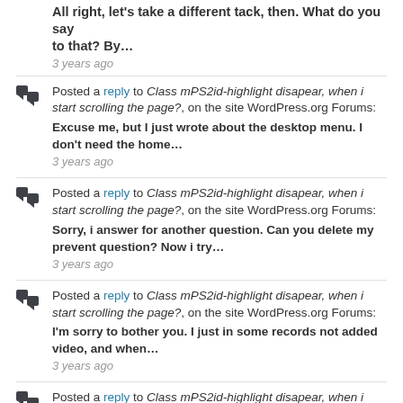All right, let's take a different tack, then. What do you say to that? By…
3 years ago
Posted a reply to Class mPS2id-highlight disapear, when i start scrolling the page?, on the site WordPress.org Forums: Excuse me, but I just wrote about the desktop menu. I don't need the home…
3 years ago
Posted a reply to Class mPS2id-highlight disapear, when i start scrolling the page?, on the site WordPress.org Forums: Sorry, i answer for another question. Can you delete my prevent question? Now i try…
3 years ago
Posted a reply to Class mPS2id-highlight disapear, when i start scrolling the page?, on the site WordPress.org Forums: I'm sorry to bother you. I just in some records not added video, and when…
3 years ago
Posted a reply to Class mPS2id-highlight disapear, when i start scrolling the page?, on the site WordPress.org Forums: